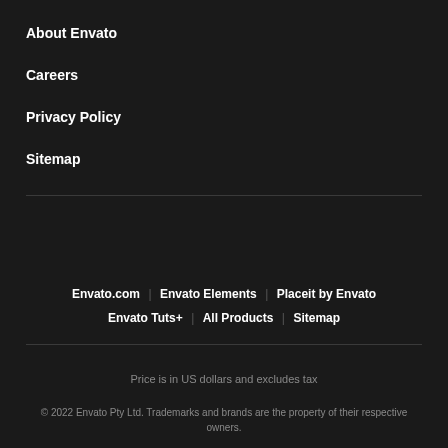About Envato
Careers
Privacy Policy
Sitemap
Envato.com   Envato Elements   Placeit by Envato   Envato Tuts+   All Products   Sitemap
Price is in US dollars and excludes tax
© 2022 Envato Pty Ltd. Trademarks and brands are the property of their respective owners.